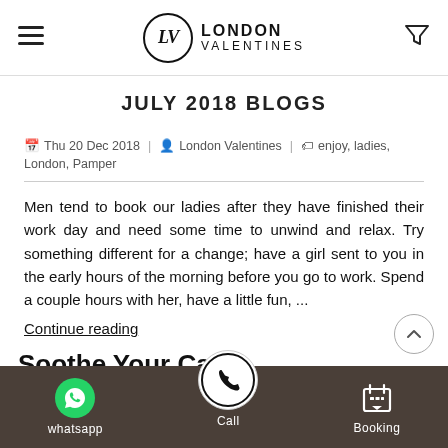London Valentines
JULY 2018 BLOGS
Thu 20 Dec 2018 | London Valentines | enjoy, ladies, London, Pamper
Men tend to book our ladies after they have finished their work day and need some time to unwind and relax. Try something different for a change; have a girl sent to you in the early hours of the morning before you go to work. Spend a couple hours with her, have a little fun, ...
Continue reading
Soothe Your Cares
whatsapp | Call | Booking